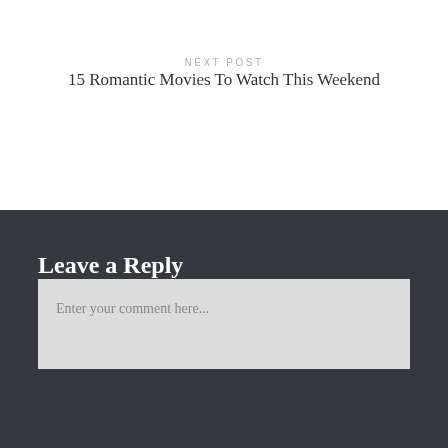NEXT POST
15 Romantic Movies To Watch This Weekend
Leave a Reply
Enter your comment here...